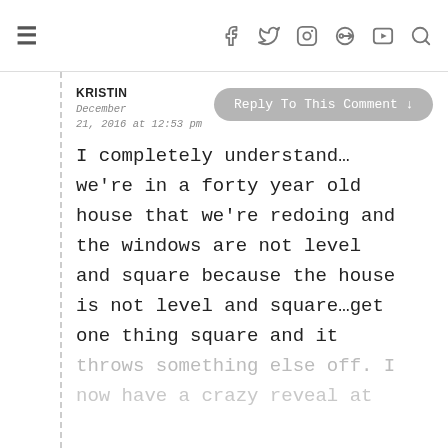≡  f  𝕥  ⊙  ®  ▶  🔍
KRISTIN
December 21, 2016 at 12:53 pm
Reply To This Comment ↓
I completely understand… we're in a forty year old house that we're redoing and the windows are not level and square because the house is not level and square…get one thing square and it throws something else off. I now have a crazy reveal at